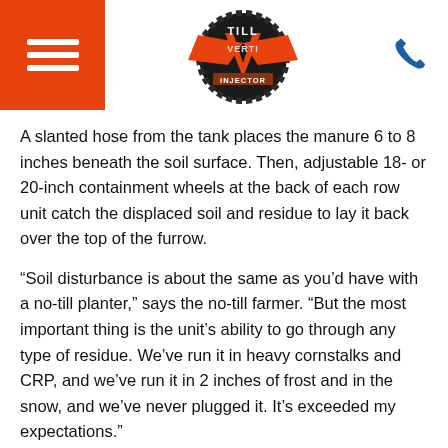[Figure (logo): Verti-Till Injector logo — circular emblem with red arrow/wing motif and text 'TILL' and 'INJECTOR' on dark background]
A slanted hose from the tank places the manure 6 to 8 inches beneath the soil surface. Then, adjustable 18- or 20-inch containment wheels at the back of each row unit catch the displaced soil and residue to lay it back over the top of the furrow.
“Soil disturbance is about the same as you’d have with a no-till planter,” says the no-till farmer. “But the most important thing is the unit’s ability to go through any type of residue. We’ve run it in heavy cornstalks and CRP, and we’ve run it in 2 inches of frost and in the snow, and we’ve never plugged it. It’s exceeded my expectations.”